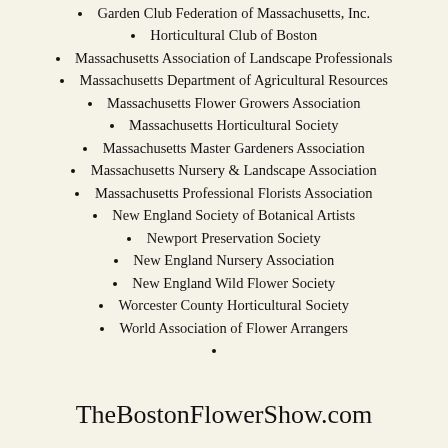Garden Club Federation of Massachusetts, Inc.
Horticultural Club of Boston
Massachusetts Association of Landscape Professionals
Massachusetts Department of Agricultural Resources
Massachusetts Flower Growers Association
Massachusetts Horticultural Society
Massachusetts Master Gardeners Association
Massachusetts Nursery & Landscape Association
Massachusetts Professional Florists Association
New England Society of Botanical Artists
Newport Preservation Society
New England Nursery Association
New England Wild Flower Society
Worcester County Horticultural Society
World Association of Flower Arrangers
TheBostonFlowerShow.com